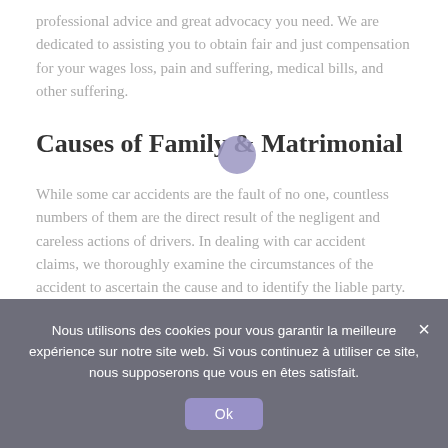professional advice and great advocacy you need. We are dedicated to assisting you to obtain fair and just compensation for your wages loss, pain and suffering, medical bills, and other suffering.
Causes of Family & Matrimonial
While some car accidents are the fault of no one, countless numbers of them are the direct result of the negligent and careless actions of drivers. In dealing with car accident claims, we thoroughly examine the circumstances of the accident to ascertain the cause and to identify the liable party. Common causes of car accidents include:
Nous utilisons des cookies pour vous garantir la meilleure expérience sur notre site web. Si vous continuez à utiliser ce site, nous supposerons que vous en êtes satisfait.